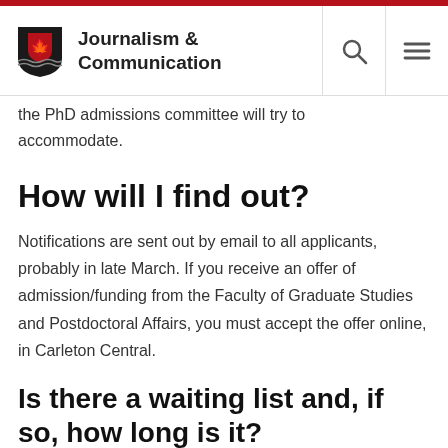Journalism & Communication
the PhD admissions committee will try to accommodate.
How will I find out?
Notifications are sent out by email to all applicants, probably in late March. If you receive an offer of admission/funding from the Faculty of Graduate Studies and Postdoctoral Affairs, you must accept the offer online, in Carleton Central.
Is there a waiting list and, if so, how long is it?